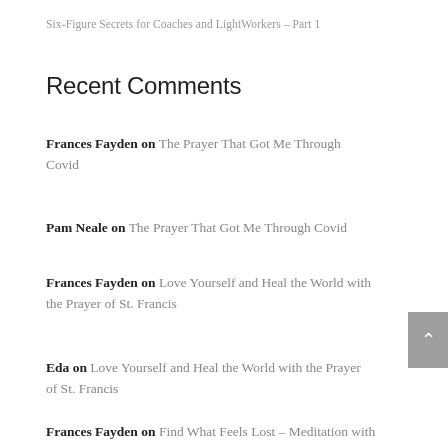Six-Figure Secrets for Coaches and LightWorkers – Part 1
Recent Comments
Frances Fayden on The Prayer That Got Me Through Covid
Pam Neale on The Prayer That Got Me Through Covid
Frances Fayden on Love Yourself and Heal the World with the Prayer of St. Francis
Eda on Love Yourself and Heal the World with the Prayer of St. Francis
Frances Fayden on Find What Feels Lost – Meditation with